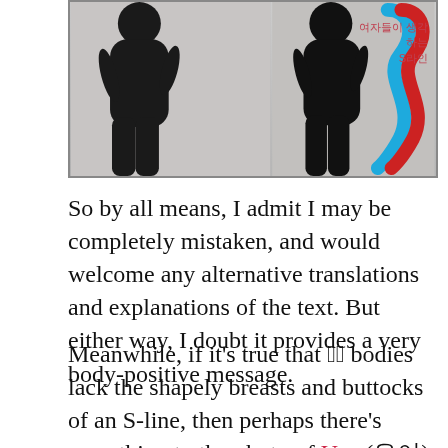[Figure (photo): Photo showing two figure silhouettes in black shapewear against a light grey background, with blue and red S-curve lines overlaid on the right side. Korean text in pink/red reads '여자들이 생각하는 S라인' (S-line as women think of it). Image bordered with a thin grey border.]
So by all means, I admit I may be completely mistaken, and would welcome any alternative translations and explanations of the text. But either way, I doubt it provides a very body-positive message.
Meanwhile, if it's true that [] bodies lack the shapely breasts and buttocks of an S-line, then perhaps there's something to the photo of Uee (유이) above that show's that there's actually two concepts of the term? In